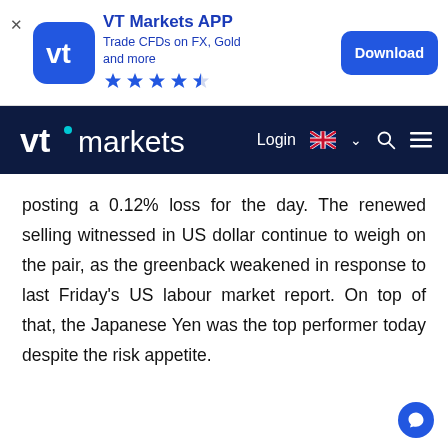[Figure (logo): VT Markets app advertisement banner with icon, title, subtitle, star rating, and Download button]
[Figure (logo): VT Markets navigation bar with logo, Login link, UK flag language selector, search icon, and hamburger menu]
posting a 0.12% loss for the day. The renewed selling witnessed in US dollar continue to weigh on the pair, as the greenback weakened in response to last Friday’s US labour market report. On top of that, the Japanese Yen was the top performer today despite the risk appetite.